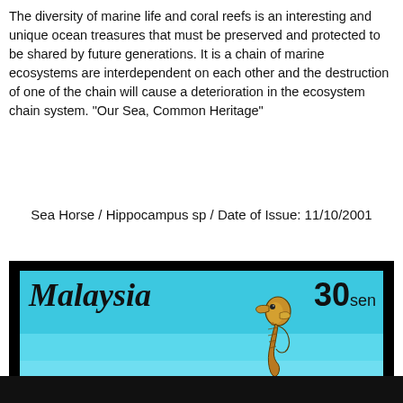The diversity of marine life and coral reefs is an interesting and unique ocean treasures that must be preserved and protected to be shared by future generations. It is a chain of marine ecosystems are interdependent on each other and the destruction of one of the chain will cause a deterioration in the ecosystem chain system. "Our Sea, Common Heritage"
Sea Horse / Hippocampus sp / Date of Issue: 11/10/2001
[Figure (photo): A Malaysian postage stamp featuring a seahorse (Hippocampus sp) against a turquoise/blue ocean background. The stamp reads 'Malaysia' in italic serif font on the left and '30sen' on the right. The stamp is bordered by a thick black frame.]